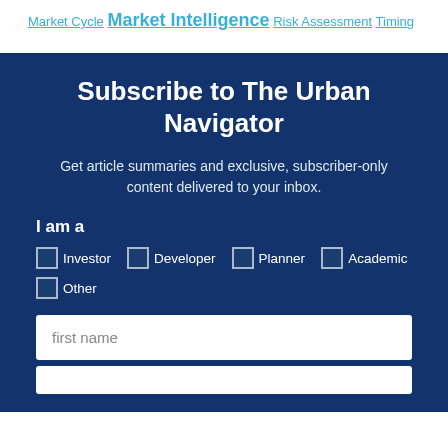Market Cycle Market Intelligence Risk Assessment Timing
Subscribe to The Urban Navigator
Get article summaries and exclusive, subscriber-only content delivered to your inbox.
I am a
Investor
Developer
Planner
Academic
Other
first name